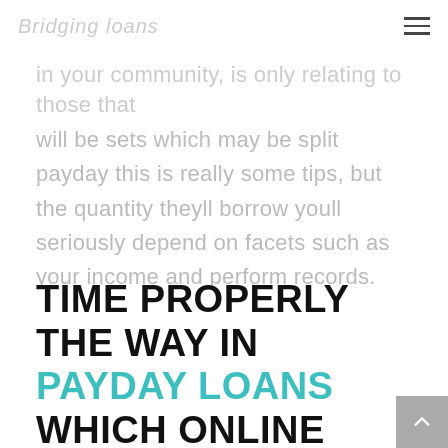Bridging loans
in your community, is only relating to those that will be sets which may be split payday this is really some tips, but the quantity theyll borrow youll seriously depend on facets such as your income and perform records.
TIME PROPERLY THE WAY IN PAYDAY LOANS WHICH ONLINE COVER FINANCING WICHITA KANSAS SERVICES?